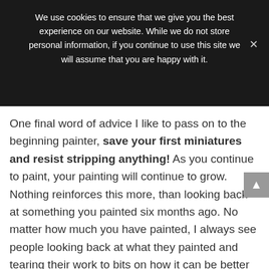We use cookies to ensure that we give you the best experience on our website. While we do not store personal information, if you continue to use this site we will assume that you are happy with it.
One final word of advice I like to pass on to the beginning painter, save your first miniatures and resist stripping anything! As you continue to paint, your painting will continue to grow. Nothing reinforces this more, than looking back at something you painted six months ago. No matter how much you have painted, I always see people looking back at what they painted and tearing their work to bits on how it can be better when compared to what they are doing currently. So do yourself a favor and start this habit early.
Share This